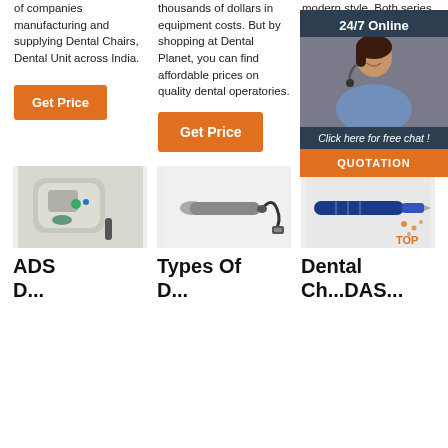of companies manufacturing and supplying Dental Chairs, Dental Unit across India.
thousands of dollars in equipment costs. But by shopping at Dental Planet, you can find affordable prices on quality dental operatories.
modern style. Both series are quite well-known in the dental market due to their hi... constru... the ...
Get Price (button, column 1)
Get Price (button, column 2)
Get (button, column 3)
[Figure (photo): Dental product device - compact machine unit]
[Figure (photo): Dental handpiece or cord accessory]
[Figure (photo): Dental drill or micromotor handpiece]
ADS D...
Types Of D...
Dental Ch...DAS...
[Figure (infographic): 24/7 Online chat overlay with agent photo, 'Click here for free chat!' and QUOTATION button]